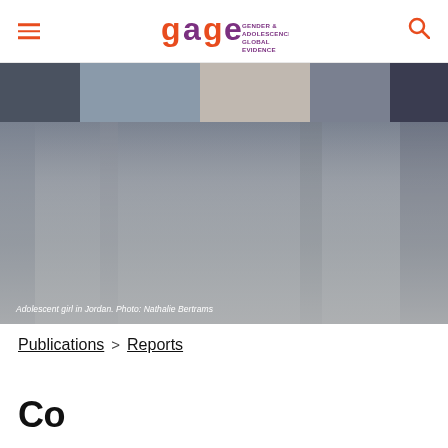gage — Gender & Adolescence: Global Evidence
[Figure (photo): Adolescent girl in Jordan, blurred background with dark draped fabric tones, fading to grey gradient in lower portion.]
Adolescent girl in Jordan. Photo: Nathalie Bertrams
Publications > Reports
Co...